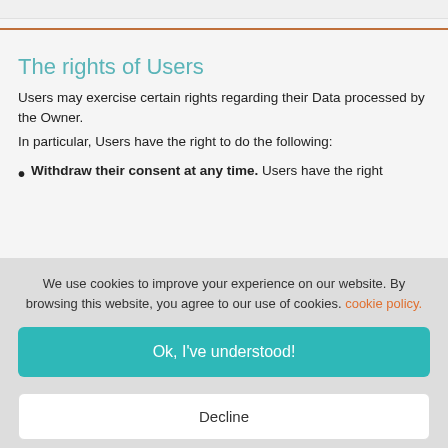The rights of Users
Users may exercise certain rights regarding their Data processed by the Owner.
In particular, Users have the right to do the following:
Withdraw their consent at any time. Users have the right
We use cookies to improve your experience on our website. By browsing this website, you agree to our use of cookies. cookie policy.
Ok, I've understood!
Decline
Settings
More Info